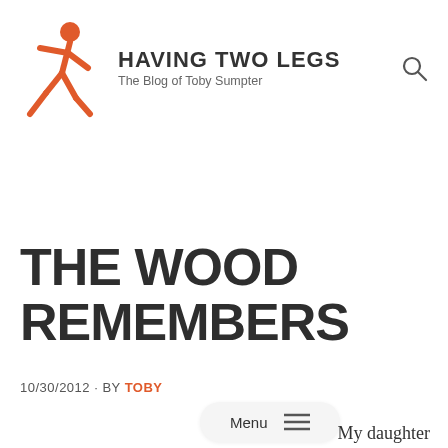[Figure (logo): Walking person stick figure in orange/coral color, used as blog logo icon]
HAVING TWO LEGS
The Blog of Toby Sumpter
THE WOOD REMEMBERS
10/30/2012 · BY TOBY
Menu ≡
My daughter